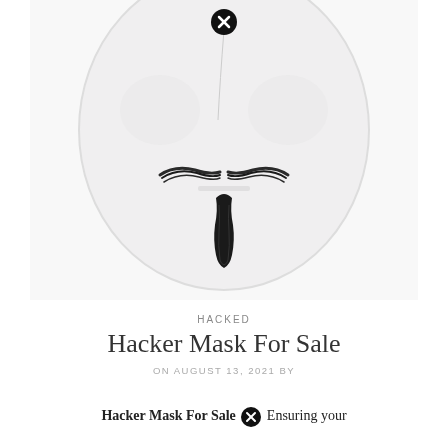[Figure (photo): Anonymous/Guy Fawkes style white hacker mask against a white background, showing the lower half of the face with distinctive black mustache and goatee markings. A circular close/X button appears at the top of the image.]
HACKED
Hacker Mask For Sale
ON AUGUST 13, 2021 BY
Hacker Mask For Sale Ensuring your